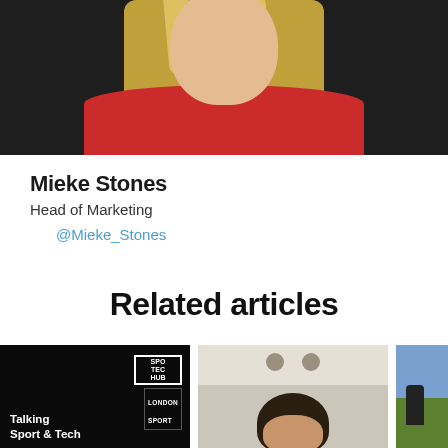[Figure (photo): Profile photo of Mieke Stones, a blonde woman wearing a red top, against a dark background]
Mieke Stones
Head of Marketing
@Mieke_Stones
Related articles
[Figure (photo): Thumbnail for article: Talking Sport & Tech, black background with Sport Tech Hub and London Sport logos]
[Figure (photo): Thumbnail showing a person photographed from above, light background]
[Figure (photo): Partial thumbnail, appears to show outdoor scene]